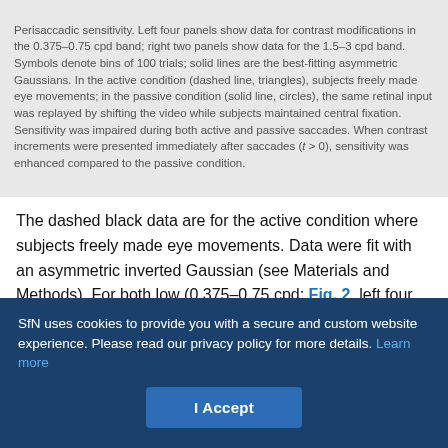Perisaccadic sensitivity. Left four panels show data for contrast modifications in the 0.375–0.75 cpd band; right two panels show data for the 1.5–3 cpd band. Symbols denote bins of 100 trials; solid lines are the best-fitting asymmetric Gaussians. In the active condition (dashed line, triangles), subjects freely made eye movements; in the passive condition (solid line, circles), the same retinal input was replayed by shifting the video while subjects maintained central fixation. Sensitivity was impaired during both active and passive saccades. When contrast increments were presented immediately after saccades (t > 0), sensitivity was enhanced compared to the passive condition.
The dashed black data are for the active condition where subjects freely made eye movements. Data were fit with an asymmetric inverted Gaussian (see Materials and Methods). For both low (0.375–0.75 cpd; Fig. 2, left four panels) and high (1.5–3 cpd; Fig. 2, right two panels) spatial frequency target bands, performance exhibits a clear dip at around the time of saccade. The data are
SfN uses cookies to provide you with a secure and custom website experience. Please read our privacy policy for more details. Learn more